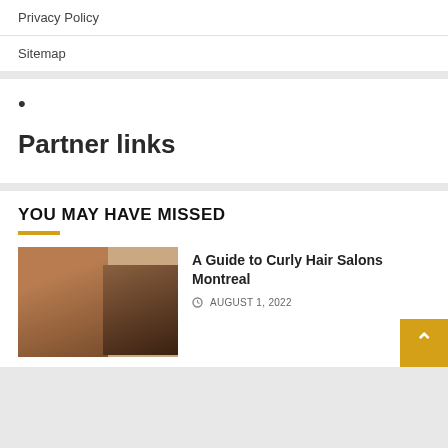Privacy Policy
Sitemap
•
Partner links
YOU MAY HAVE MISSED
[Figure (photo): Two overlapping photos: left shows a woman with curly hair smiling, right shows a salon interior with brick wall]
A Guide to Curly Hair Salons Montreal
AUGUST 1, 2022